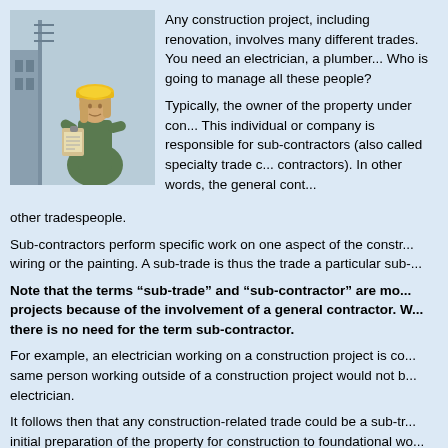[Figure (photo): Woman in yellow hard hat holding a clipboard at a construction site]
Any construction project, including renovation, involves many different trades. You need an electrician, a plumber... Who is going to manage all these people?

Typically, the owner of the property under con... This individual or company is responsible for sub-contractors (also called specialty trade c... contractors). In other words, the general cont... other tradespeople.
Sub-contractors perform specific work on one aspect of the constr... wiring or the painting. A sub-trade is thus the trade a particular sub-...
Note that the terms “sub-trade” and “sub-contractor” are mo... projects because of the involvement of a general contractor. W... there is no need for the term sub-contractor.
For example, an electrician working on a construction project is co... same person working outside of a construction project would not b... electrician.
It follows then that any construction-related trade could be a sub-tr... initial preparation of the property for construction to foundational wo...
References: